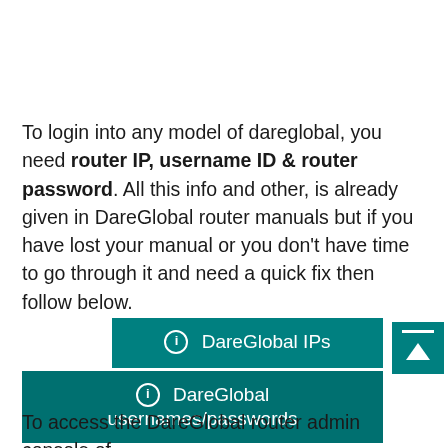To login into any model of dareglobal, you need router IP, username ID & router password. All this info and other, is already given in DareGlobal router manuals but if you have lost your manual or you don't have time to go through it and need a quick fix then follow below.
[Figure (other): Two teal/dark-teal button links: 'DareGlobal IPs' and 'DareGlobal usernames/passwords', each prefixed with a circled info icon. A teal scroll-to-top button appears at the right.]
To access the DareGlobal router admin console of